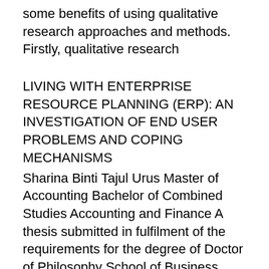some benefits of using qualitative research approaches and methods. Firstly, qualitative research
LIVING WITH ENTERPRISE RESOURCE PLANNING (ERP): AN INVESTIGATION OF END USER PROBLEMS AND COPING MECHANISMS
Sharina Binti Tajul Urus Master of Accounting Bachelor of Combined Studies Accounting and Finance A thesis submitted in fulfilment of the requirements for the degree of Doctor of Philosophy School of Business Information Technology and Logistics Business College RMIT ... Walsham saw interpretivism as gaining ground at that point against a predominantly positivist research tradition in information systems. Klein and Myers (1999) consider that theory plays a